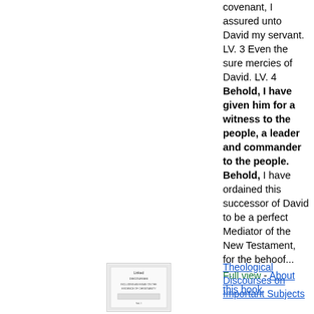covenant, I assured unto David my servant. LV. 3 Even the sure mercies of David. LV. 4 Behold, I have given him for a witness to the people, a leader and commander to the people. Behold, I have ordained this successor of David to be a perfect Mediator of the New Testament, for the behoof...
Full view - About this book
[Figure (illustration): Small thumbnail image of a book cover for Theological Discourses on Important Subjects]
Theological Discourses on Important Subjects